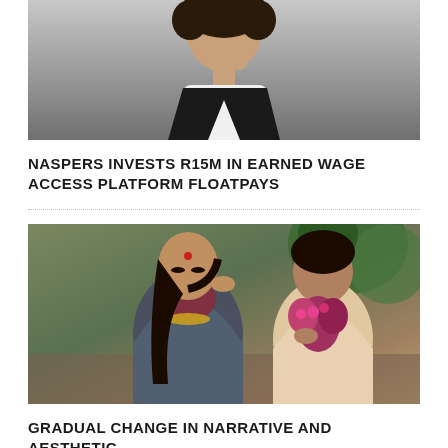[Figure (photo): Portrait photo of a person in a black blazer, hand near chin, thoughtful pose, grey background]
NASPERS INVESTS R15M IN EARNED WAGE ACCESS PLATFORM FLOATPAYS
[Figure (photo): Scene with two women in traditional Indian attire seated outdoors, one in a grey saree with jewellery, the other in a light saree with flowers, lush greenery background]
GRADUAL CHANGE IN NARRATIVE AND AESTHETIC